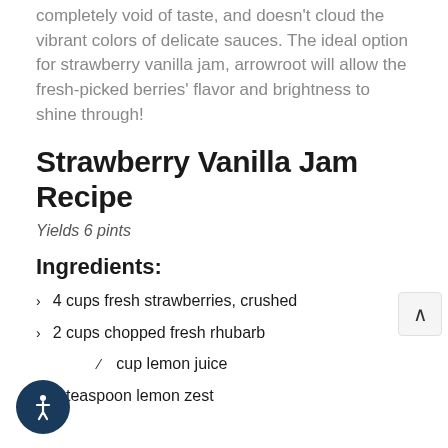completely void of taste, and doesn't cloud the vibrant colors of delicate sauces. The ideal option for strawberry vanilla jam, arrowroot will allow the fresh-picked berries' flavor and brightness to shine through!
Strawberry Vanilla Jam Recipe
Yields 6 pints
Ingredients:
4 cups fresh strawberries, crushed
2 cups chopped fresh rhubarb
⅓ cup lemon juice
1 teaspoon lemon zest